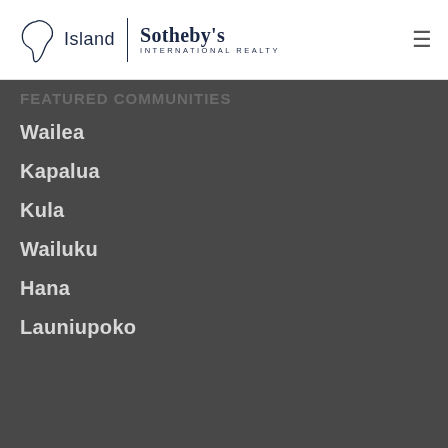[Figure (logo): Island Sotheby's International Realty logo with island shape icon, company name, and hamburger menu icon]
FEATURED COMMUNITIES
Wailea
Kapalua
Kula
Wailuku
Hana
Launiupoko